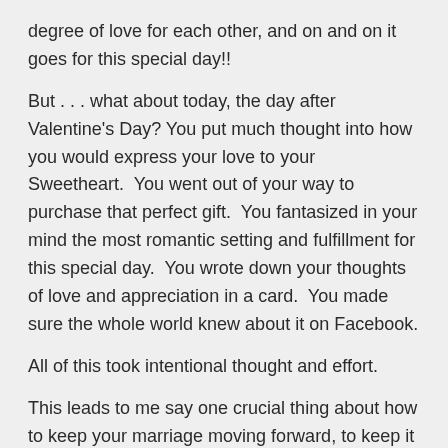degree of love for each other, and on and on it goes for this special day!!
But . . . what about today, the day after Valentine’s Day? You put much thought into how you would express your love to your Sweetheart. You went out of your way to purchase that perfect gift. You fantasized in your mind the most romantic setting and fulfillment for this special day. You wrote down your thoughts of love and appreciation in a card. You made sure the whole world knew about it on Facebook.
All of this took intentional thought and effort.
This leads to me say one crucial thing about how to keep your marriage moving forward, to keep it hummin’!
You have to work at it every day!